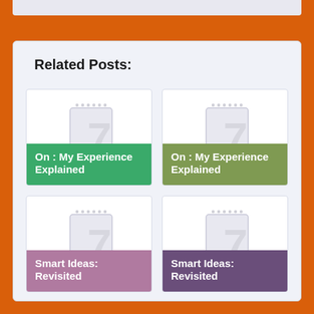Related Posts:
[Figure (illustration): Blog post card with notepad icon, green label: On : My Experience Explained]
[Figure (illustration): Blog post card with notepad icon, olive/sage label: On : My Experience Explained]
[Figure (illustration): Blog post card with notepad icon, mauve label: Smart Ideas: Revisited]
[Figure (illustration): Blog post card with notepad icon, purple label: Smart Ideas: Revisited]